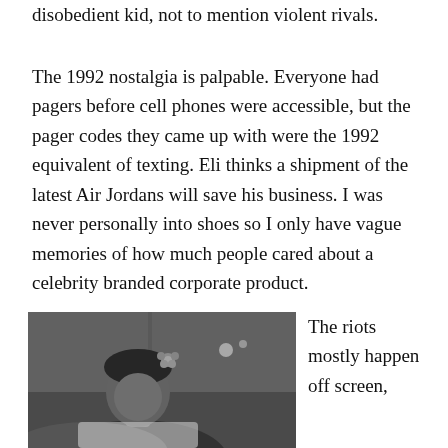disobedient kid, not to mention violent rivals.
The 1992 nostalgia is palpable. Everyone had pagers before cell phones were accessible, but the pager codes they came up with were the 1992 equivalent of texting. Eli thinks a shipment of the latest Air Jordans will save his business. I was never personally into shoes so I only have vague memories of how much people cared about a celebrity branded corporate product.
[Figure (photo): Black and white photo of a young person looking down, with a flower in their hair, outdoors with blurred background lights]
The riots mostly happen off screen,